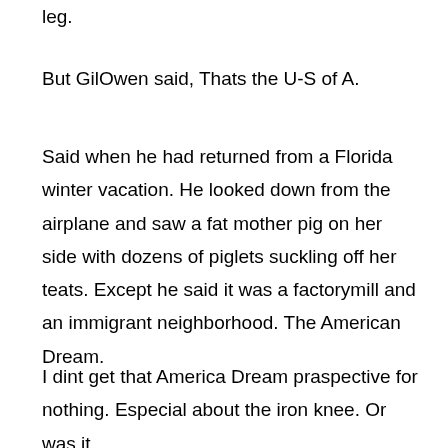leg.
But GilOwen said, Thats the U-S of A.
Said when he had returned from a Florida winter vacation. He looked down from the airplane and saw a fat mother pig on her side with dozens of piglets suckling off her teats. Except he said it was a factorymill and an immigrant neighborhood. The American Dream.
I dint get that America Dream praspective for nothing. Especial about the iron knee. Or was it